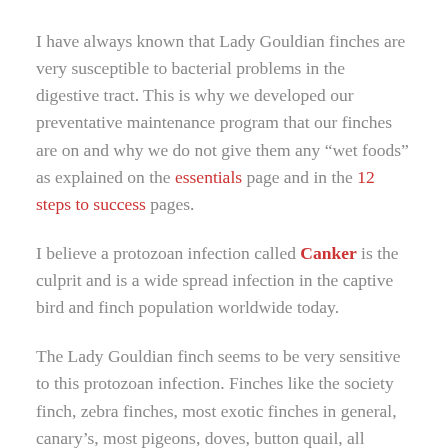I have always known that Lady Gouldian finches are very susceptible to bacterial problems in the digestive tract. This is why we developed our preventative maintenance program that our finches are on and why we do not give them any “wet foods” as explained on the essentials page and in the 12 steps to success pages.
I believe a protozoan infection called Canker is the culprit and is a wide spread infection in the captive bird and finch population worldwide today.
The Lady Gouldian finch seems to be very sensitive to this protozoan infection. Finches like the society finch, zebra finches, most exotic finches in general, canary’s, most pigeons, doves, button quail, all poultry, etc.…. all have a little higher tolerance for Canker than the Lady Gouldian finch and most of them can live fairly well with it.